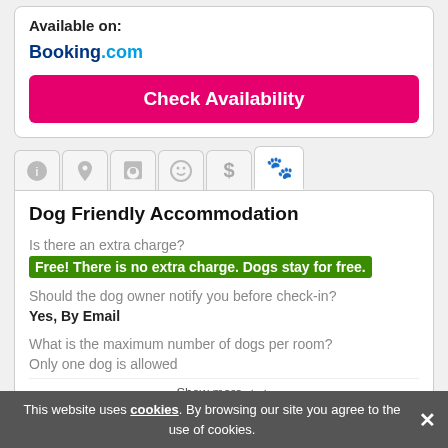Available on:
Booking.com
Check Availability
Dog Friendly Accommodation
Is there an extra charge?
Free! There is no extra charge. Dogs stay for free.
Should the dog owner notify you before check-in?
Yes, By Email
What is the maximum number of dogs per room?
Only one dog is allowed
Show more ▲▲
Categories 1
This website uses cookies. By browsing our site you agree to the use of cookies.